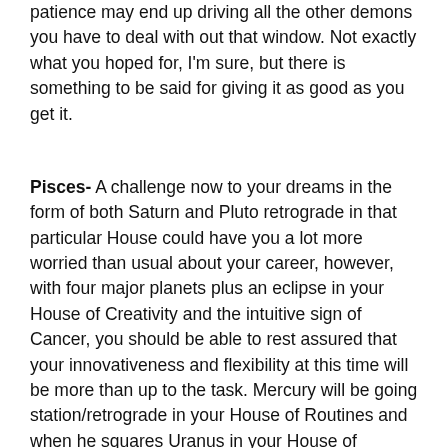patience may end up driving all the other demons you have to deal with out that window. Not exactly what you hoped for, I'm sure, but there is something to be said for giving it as good as you get it.
Pisces- A challenge now to your dreams in the form of both Saturn and Pluto retrograde in that particular House could have you a lot more worried than usual about your career, however, with four major planets plus an eclipse in your House of Creativity and the intuitive sign of Cancer, you should be able to rest assured that your innovativeness and flexibility at this time will be more than up to the task. Mercury will be going station/retrograde in your House of Routines and when he squares Uranus in your House of Communication there will probably be a lot of bullshit flying around trying to masquerade as the truth, but don't you believe any of it.